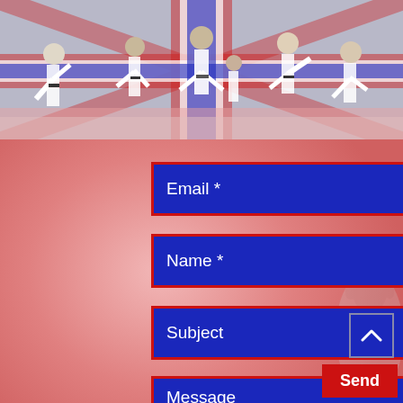[Figure (photo): Taekwondo practitioners in white uniforms performing kicks and stances, with a British Union Jack flag motif in the background. Multiple figures visible including children and adults.]
Email *
Name *
Subject
Message
Send